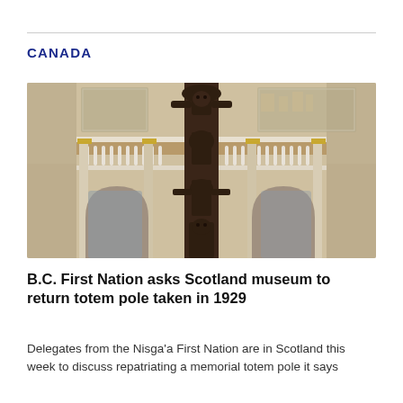CANADA
[Figure (photo): A tall dark wooden totem pole displayed inside a museum with ornate white balconies, arched windows, and classical architecture. The totem pole features carved human and animal figures stacked vertically.]
B.C. First Nation asks Scotland museum to return totem pole taken in 1929
Delegates from the Nisga'a First Nation are in Scotland this week to discuss repatriating a memorial totem pole it says